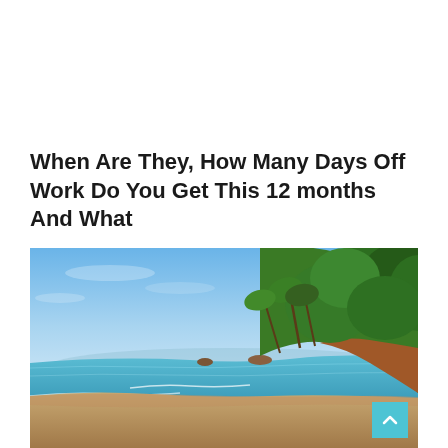When Are They, How Many Days Off Work Do You Get This 12 months And What
[Figure (photo): Tropical beach scene with clear blue sky, turquoise ocean water, sandy beach curving to the right, and a lush green hillside covered with palm trees and tropical vegetation on the right side. Rocky outcroppings visible in the water.]